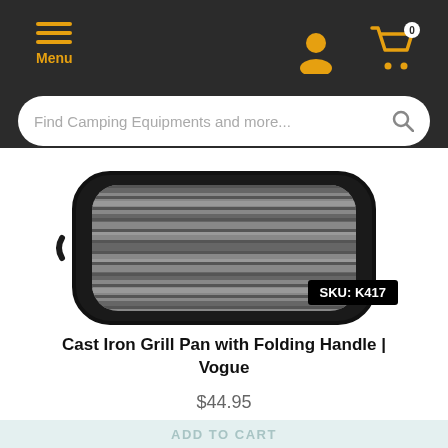Menu | User | Cart (0) | Search: Find Camping Equipments and more...
[Figure (photo): Cast iron grill pan with folding handle viewed from above, showing parallel ridged cooking surface with rounded rectangular shape and dark border]
SKU: K417
Cast Iron Grill Pan with Folding Handle | Vogue
$44.95
ADD TO CART